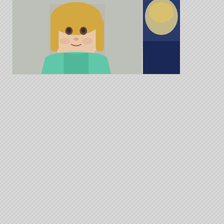[Figure (photo): Photo of a young toddler girl with blonde hair wearing a teal/mint green shirt, against a light background]
[Figure (photo): Partial photo on right side showing a person in a dark navy/blue outfit with light colored elements, cropped at edge]
[Photos] Toddler Missing For 2 Days: Man Opens Door, Realizes Pitbull Had Her
12Up
Almost Nobo Classic Logo
WarpedSpeed
Privacy & Cookies: This site uses cookies. By continuing to use this website, you agree to their use.
To find out more, including how to control cookies, see here: Cookie Policy
Close and accept